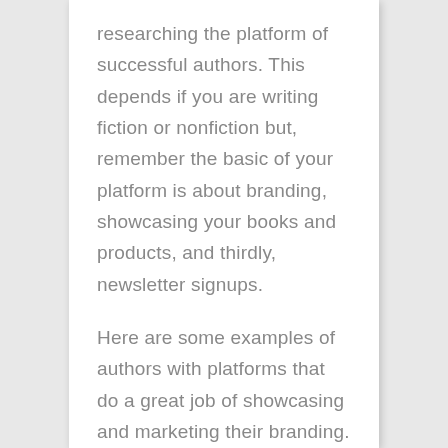researching the platform of successful authors. This depends if you are writing fiction or nonfiction but, remember the basic of your platform is about branding, showcasing your books and products, and thirdly, newsletter signups.
Here are some examples of authors with platforms that do a great job of showcasing and marketing their branding. You may